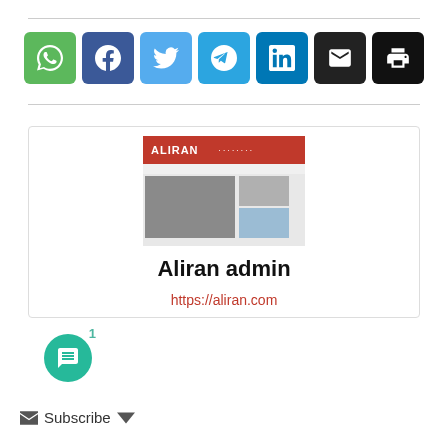[Figure (infographic): Social share buttons: WhatsApp (green), Facebook (dark blue), Twitter (light blue), Telegram (blue), LinkedIn (blue), Email (dark), Print (black)]
[Figure (screenshot): Aliran website screenshot showing the red header with ALIRAN logo, navigation and article content below]
Aliran admin
https://aliran.com
[Figure (infographic): Chat bubble icon in teal circle with badge number 1]
Subscribe